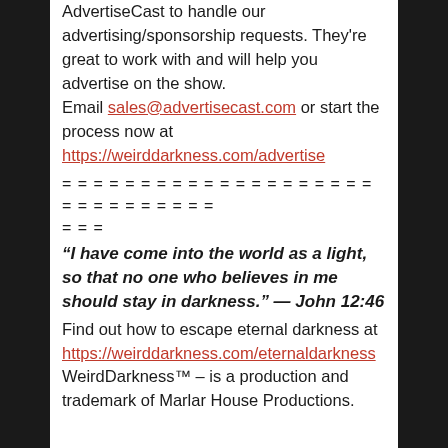AdvertiseCast to handle our advertising/sponsorship requests. They're great to work with and will help you advertise on the show. Email sales@advertisecast.com or start the process now at https://weirddarkness.com/advertise
= = = = = = = = = = = = = = = = = = = = = = = = = = = = = =
= = =
“I have come into the world as a light, so that no one who believes in me should stay in darkness.” — John 12:46
Find out how to escape eternal darkness at https://weirddarkness.com/eternaldarkness
WeirdDarkness™ – is a production and trademark of Marlar House Productions.